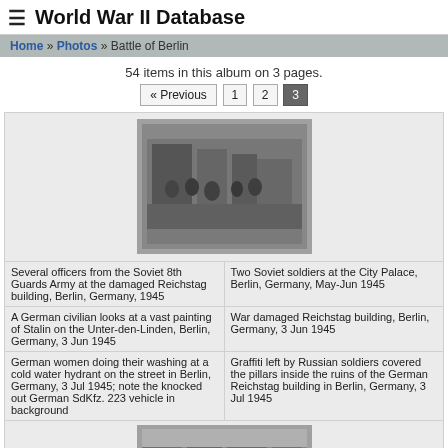≡ World War II Database
Home » Photos » Battle of Berlin
54 items in this album on 3 pages.
« Previous 1 2 3
[Figure (photo): Black and white photo of several officers from the Soviet 8th Guards Army at the damaged Reichstag building]
Several officers from the Soviet 8th Guards Army at the damaged Reichstag building, Berlin, Germany, 1945
Two Soviet soldiers at the City Palace, Berlin, Germany, May-Jun 1945
A German civilian looks at a vast painting of Stalin on the Unter-den-Linden, Berlin, Germany, 3 Jun 1945
War damaged Reichstag building, Berlin, Germany, 3 Jun 1945
German women doing their washing at a cold water hydrant on the street in Berlin, Germany, 3 Jul 1945; note the knocked out German SdKfz. 223 vehicle in background
Graffiti left by Russian soldiers covered the pillars inside the ruins of the German Reichstag building in Berlin, Germany, 3 Jul 1945
[Figure (photo): Black and white photo of a damaged Berlin street]